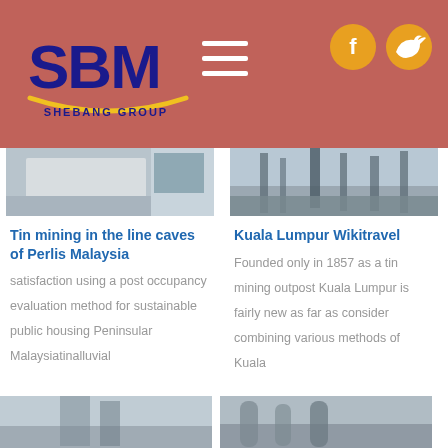[Figure (logo): SBM Shebang Group logo — blue stylized SBM letters with yellow arc and 'SHEBANG GROUP' text below]
[Figure (screenshot): Header navigation screenshot with hamburger menu icon (three white lines) and two social media icons (Facebook and Twitter) on salmon/rose background]
[Figure (photo): Thumbnail photo — tin mining or industrial building in snowy or white setting]
Tin mining in the line caves of Perlis Malaysia
satisfaction using a post occupancy evaluation method for sustainable public housing Peninsular Malaysiatinalluvial
[Figure (photo): Thumbnail photo — industrial facility with large structures and cranes]
Kuala Lumpur Wikitravel
Founded only in 1857 as a tin mining outpost Kuala Lumpur is fairly new as far as consider combining various methods of Kuala
[Figure (photo): Bottom left partial thumbnail — sky and industrial structure]
[Figure (photo): Bottom right partial thumbnail — industrial silos or tanks]